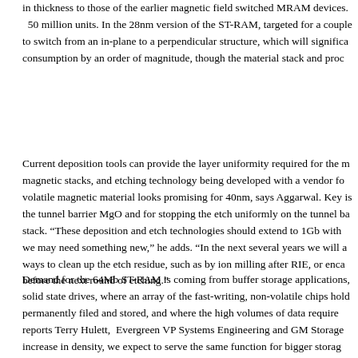in thickness to those of the earlier magnetic field switched MRAM devices. 50 million units. In the 28nm version of the ST-RAM, targeted for a couple to switch from an in-plane to a perpendicular structure, which will significantly consumption by an order of magnitude, though the material stack and proc
Current deposition tools can provide the layer uniformity required for the m magnetic stacks, and etching technology being developed with a vendor fo volatile magnetic material looks promising for 40nm, says Aggarwal. Key is the tunnel barrier MgO and for stopping the etch uniformly on the tunnel b stack. "These deposition and etch technologies should extend to 1Gb with we may need something new," he adds. "In the next several years we will ways to clean up the etch residue, such as by ion milling after RIE, or enca before the next round of etching."
Demand for the 64Mb ST-RAM is coming from buffer storage applications, solid state drives, where an array of the fast-writing, non-volatile chips hol permanently filed and stored, and where the high volumes of data require reports Terry Hulett, Evergreen VP Systems Engineering and GM Storage increase in density, we expect to serve the same function for bigger storag solid state drives," he projects. The company also targets applications for p